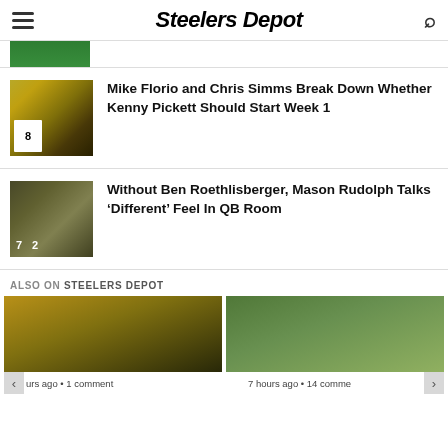Steelers Depot
[Figure (photo): Partial green-background thumbnail image at top of page]
Mike Florio and Chris Simms Break Down Whether Kenny Pickett Should Start Week 1
Without Ben Roethlisberger, Mason Rudolph Talks ‘Different’ Feel In QB Room
ALSO ON STEELERS DEPOT
[Figure (photo): Two preview article thumbnail cards at the bottom; left card shows a person with headset, right card shows a player in helmet outdoors. Left shows 'urs ago • 1 comment', right shows '7 hours ago • 14 comme']